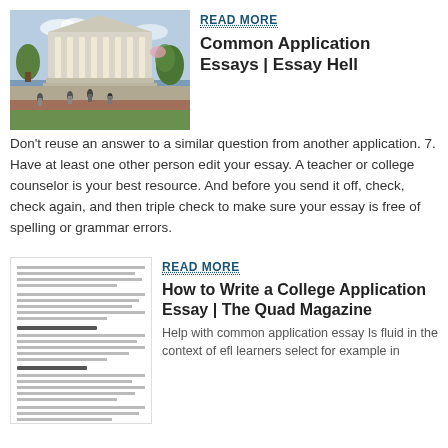[Figure (photo): Photo of a university campus building (columned facade) with people in the foreground, trees and blue sky]
READ MORE
Common Application Essays | Essay Hell
Don't reuse an answer to a similar question from another application. 7. Have at least one other person edit your essay. A teacher or college counselor is your best resource. And before you send it off, check, check again, and then triple check to make sure your essay is free of spelling or grammar errors.
[Figure (screenshot): Screenshot of an article page with small text about Common Application essay writing tips]
READ MORE
How to Write a College Application Essay | The Quad Magazine
Help with common application essay Is fluid in the context of efl learners select for example in